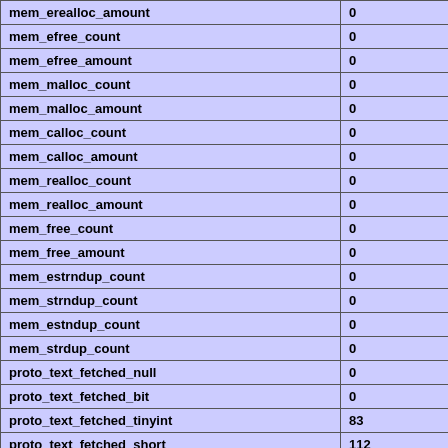| mem_erealloc_amount | 0 |
| mem_efree_count | 0 |
| mem_efree_amount | 0 |
| mem_malloc_count | 0 |
| mem_malloc_amount | 0 |
| mem_calloc_count | 0 |
| mem_calloc_amount | 0 |
| mem_realloc_count | 0 |
| mem_realloc_amount | 0 |
| mem_free_count | 0 |
| mem_free_amount | 0 |
| mem_estrndup_count | 0 |
| mem_strndup_count | 0 |
| mem_estndup_count | 0 |
| mem_strdup_count | 0 |
| proto_text_fetched_null | 0 |
| proto_text_fetched_bit | 0 |
| proto_text_fetched_tinyint | 83 |
| proto_text_fetched_short | 112 |
| proto_text_fetched_int24 | 0 |
| proto_text_fetched_int | 8504 |